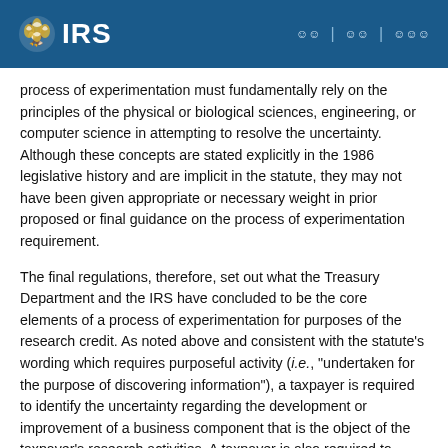IRS
process of experimentation must fundamentally rely on the principles of the physical or biological sciences, engineering, or computer science in attempting to resolve the uncertainty. Although these concepts are stated explicitly in the 1986 legislative history and are implicit in the statute, they may not have been given appropriate or necessary weight in prior proposed or final guidance on the process of experimentation requirement.
The final regulations, therefore, set out what the Treasury Department and the IRS have concluded to be the core elements of a process of experimentation for purposes of the research credit. As noted above and consistent with the statute's wording which requires purposeful activity (i.e., "undertaken for the purpose of discovering information"), a taxpayer is required to identify the uncertainty regarding the development or improvement of a business component that is the object of the taxpayer's research activities. A taxpayer is also required to identify one or more alternatives intended to eliminate